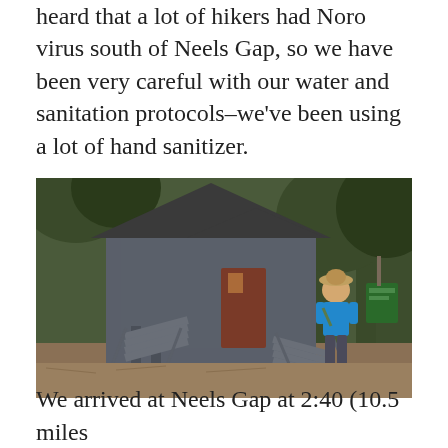heard that a lot of hikers had Noro virus south of Neels Gap, so we have been very careful with our water and sanitation protocols–we've been using a lot of hand sanitizer.
[Figure (photo): A hiker (woman in blue shirt and hat) standing in front of a dark grey wooden elevated building/outpost structure surrounded by trees. There is a green sign to the right. The ground is covered in pine needles and dirt.]
We arrived at Neels Gap at 2:40 (10.5 miles